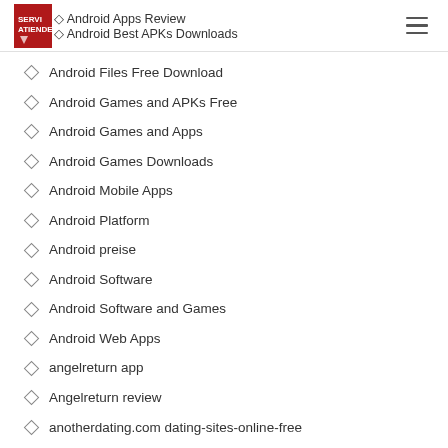Android Apps Review | Android Best APKs Downloads
Android Files Free Download
Android Games and APKs Free
Android Games and Apps
Android Games Downloads
Android Mobile Apps
Android Platform
Android preise
Android Software
Android Software and Games
Android Web Apps
angelreturn app
Angelreturn review
anotherdating.com dating-sites-online-free
AntiChat preise
AntiChat reviews